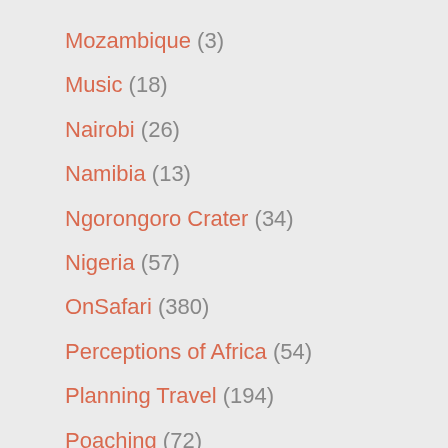Mozambique (3)
Music (18)
Nairobi (26)
Namibia (13)
Ngorongoro Crater (34)
Nigeria (57)
OnSafari (380)
Perceptions of Africa (54)
Planning Travel (194)
Poaching (72)
Politics (747)